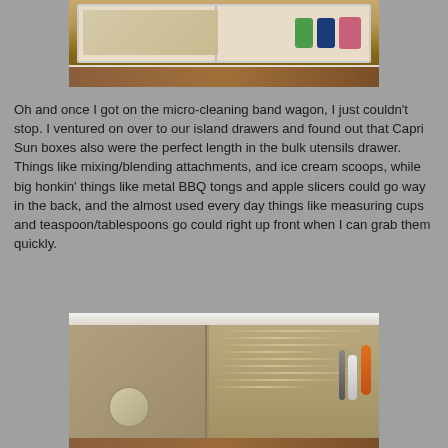[Figure (photo): Top-down view of an organized kitchen drawer with a white tray divider, containing small items on the left and colorful objects (green, blue, pink) on the right, with wood visible beneath.]
Oh and once I got on the micro-cleaning band wagon, I just couldn't stop.  I ventured on over to our island drawers and found out that Capri Sun boxes also were the perfect length in the bulk utensils drawer.  Things like mixing/blending attachments, and ice cream scoops, while big honkin' things like metal BBQ tongs and apple slicers could go way in the back, and the almost used every day things like measuring cups and teaspoon/tablespoons go could right up front when I can grab them quickly.
[Figure (photo): Top-down photo of an open kitchen drawer filled with various utensils including measuring spoons, tongs, a circular label maker, orange and white handled tools, scissors, and other kitchen implements organized in a wooden tray.]